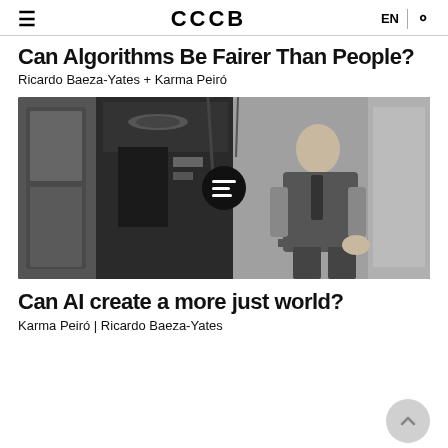≡  CCCB  EN | 🔍
Can Algorithms Be Fairer Than People?
Ricardo Baeza-Yates + Karma Peiró
[Figure (photo): Black and white historical photograph of a man in a suit sitting in a chair next to large industrial or computing machinery, with a circular play/article button overlay in the center]
Can AI create a more just world?
Karma Peiró | Ricardo Baeza-Yates